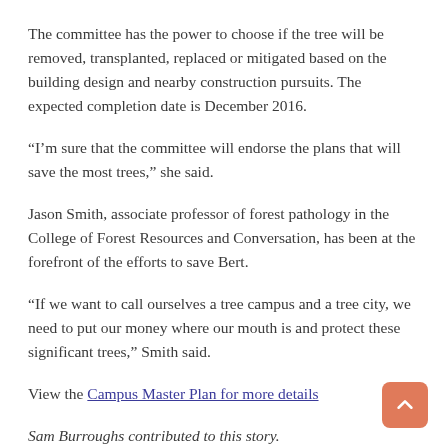The committee has the power to choose if the tree will be removed, transplanted, replaced or mitigated based on the building design and nearby construction pursuits. The expected completion date is December 2016.
“I’m sure that the committee will endorse the plans that will save the most trees,” she said.
Jason Smith, associate professor of forest pathology in the College of Forest Resources and Conversation, has been at the forefront of the efforts to save Bert.
“If we want to call ourselves a tree campus and a tree city, we need to put our money where our mouth is and protect these significant trees,” Smith said.
View the Campus Master Plan for more details
Sam Burroughs contributed to this story.